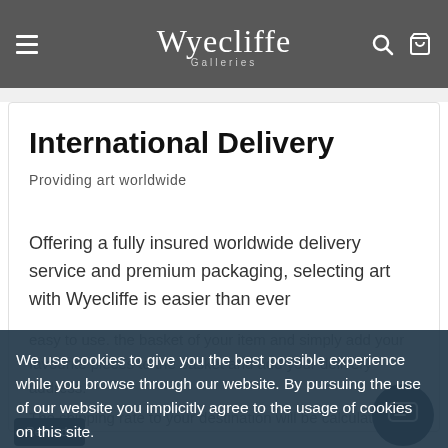Wyecliffe Galleries
International Delivery
Providing art worldwide
Offering a fully insured worldwide delivery service and premium packaging, selecting art with Wyecliffe is easier than ever
We use cookies to give you the best possible experience while you browse through our website. By pursuing the use of our website you implicitly agree to the usage of cookies on this site.
Got it!
Do not track